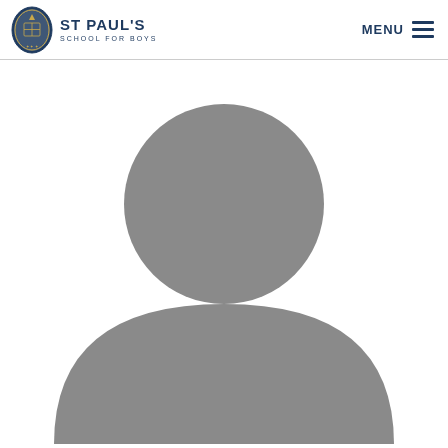St Paul's School for Boys — MENU
[Figure (illustration): Generic default user avatar silhouette showing a circular head and semicircular body/shoulders shape in medium grey on white background]